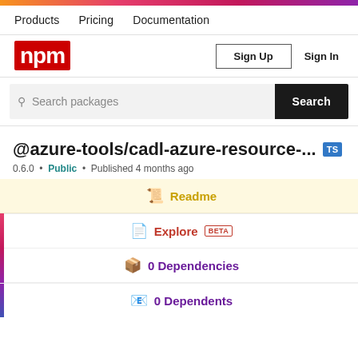npm website header with gradient bar
Products  Pricing  Documentation
[Figure (logo): npm logo in red background]
Sign Up  Sign In
Search packages  Search
@azure-tools/cadl-azure-resource-...
0.6.0 • Public • Published 4 months ago
Readme
Explore BETA
0 Dependencies
0 Dependents